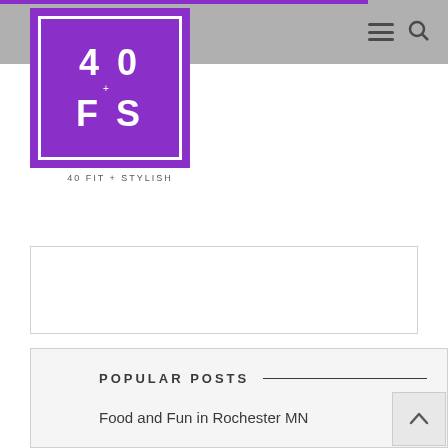[Figure (logo): 40 Fit + Stylish logo — purple square with white border containing '40' and 'FS' text, with subtitle '40 FIT + STYLISH']
[Figure (other): Empty advertisement box with thin border]
POPULAR POSTS
Food and Fun in Rochester MN
Ballet and Wine = A Wonderful Time
Melissa's Kickin' Chicken Cornbread Tamale Casserole Recipe